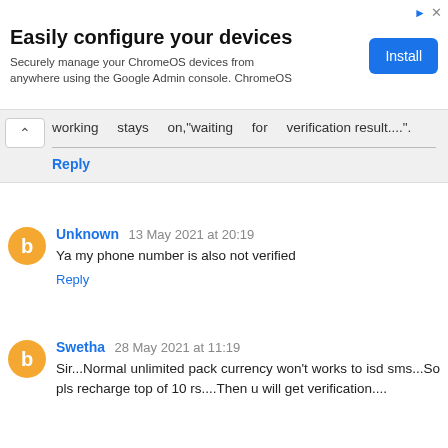[Figure (infographic): Advertisement banner: 'Easily configure your devices - Securely manage your ChromeOS devices from anywhere using the Google Admin console. ChromeOS' with Install button]
working stays on,"waiting for verification result...."
Reply
Unknown 13 May 2021 at 20:19
Ya my phone number is also not verified
Reply
Swetha 28 May 2021 at 11:19
Sir...Normal unlimited pack currency won't works to isd sms...So pls recharge top of 10 rs....Then u will get verification....